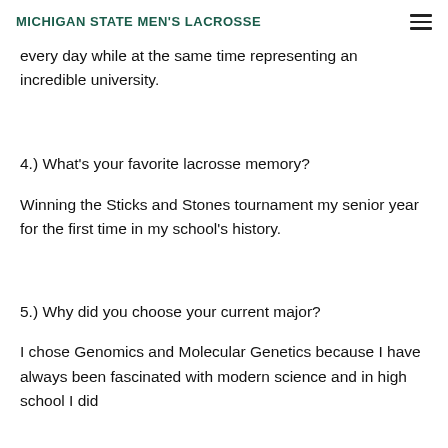MICHIGAN STATE MEN'S LACROSSE
every day while at the same time representing an incredible university.
4.) What’s your favorite lacrosse memory?
Winning the Sticks and Stones tournament my senior year for the first time in my school’s history.
5.) Why did you choose your current major?
I chose Genomics and Molecular Genetics because I have always been fascinated with modern science and in high school I did